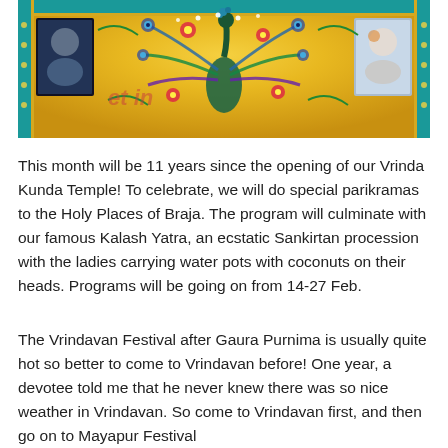[Figure (photo): Close-up photograph of colorful embroidered fabric with yellow background featuring decorative peacock designs with blue, green, and red embroidery, teal border trim with gold edging, and two framed pictures on either side.]
This month will be 11 years since the opening of our Vrinda Kunda Temple! To celebrate, we will do special parikramas to the Holy Places of Braja. The program will culminate with our famous Kalash Yatra, an ecstatic Sankirtan procession with the ladies carrying water pots with coconuts on their heads. Programs will be going on from 14-27 Feb.
The Vrindavan Festival after Gaura Purnima is usually quite hot so better to come to Vrindavan before! One year, a devotee told me that he never knew there was so nice weather in Vrindavan. So come to Vrindavan first, and then go on to Mayapur Festival